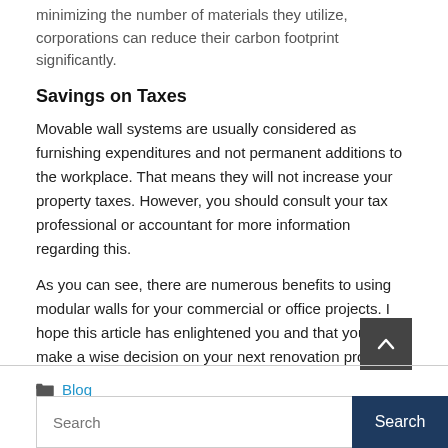minimizing the number of materials they utilize, corporations can reduce their carbon footprint significantly.
Savings on Taxes
Movable wall systems are usually considered as furnishing expenditures and not permanent additions to the workplace. That means they will not increase your property taxes. However, you should consult your tax professional or accountant for more information regarding this.
As you can see, there are numerous benefits to using modular walls for your commercial or office projects. I hope this article has enlightened you and that you will make a wise decision on your next renovation project.
Blog
Search